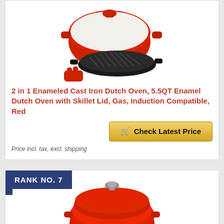[Figure (photo): Product photo of a red 2-in-1 enameled cast iron Dutch oven set with skillet lid and silicone accessories on white background]
2 in 1 Enameled Cast Iron Dutch Oven, 5.5QT Enamel Dutch Oven with Skillet Lid, Gas, Induction Compatible, Red
Check Latest Price
Price incl. tax, excl. shipping
RANK NO. 7
[Figure (photo): Product photo of a red enameled cast iron Dutch oven with lid and knob handle, partially visible at bottom of page]